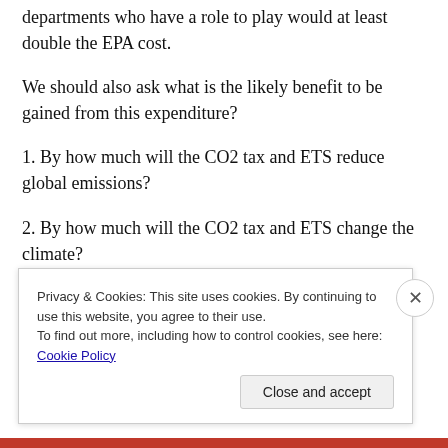departments who have a role to play would at least double the EPA cost.
We should also ask what is the likely benefit to be gained from this expenditure?
1. By how much will the CO2 tax and ETS reduce global emissions?
2. By how much will the CO2 tax and ETS change the climate?
Privacy & Cookies: This site uses cookies. By continuing to use this website, you agree to their use.
To find out more, including how to control cookies, see here: Cookie Policy